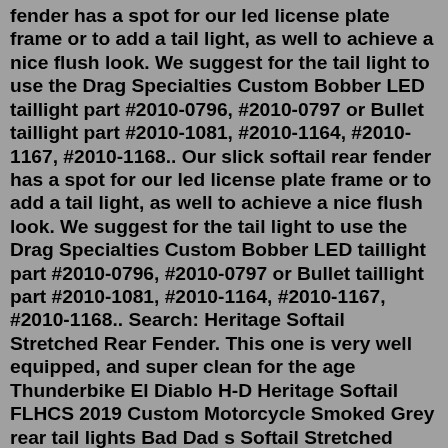fender has a spot for our led license plate frame or to add a tail light, as well to achieve a nice flush look. We suggest for the tail light to use the Drag Specialties Custom Bobber LED taillight part #2010-0796, #2010-0797 or Bullet taillight part #2010-1081, #2010-1164, #2010-1167, #2010-1168.. Our slick softail rear fender has a spot for our led license plate frame or to add a tail light, as well to achieve a nice flush look. We suggest for the tail light to use the Drag Specialties Custom Bobber LED taillight part #2010-0796, #2010-0797 or Bullet taillight part #2010-1081, #2010-1164, #2010-1167, #2010-1168.. Search: Heritage Softail Stretched Rear Fender. This one is very well equipped, and super clean for the age Thunderbike El Diablo H-D Heritage Softail FLHCS 2019 Custom Motorcycle Smoked Grey rear tail lights Bad Dad s Softail Stretched Wide Rear Fender is a fender cover that is designed to install over the top of your stock Begin by tearing down the rear of the motorcycle, including the seat ...66. Our slick softail rear fender has a spot for our led license plate frame or to add a